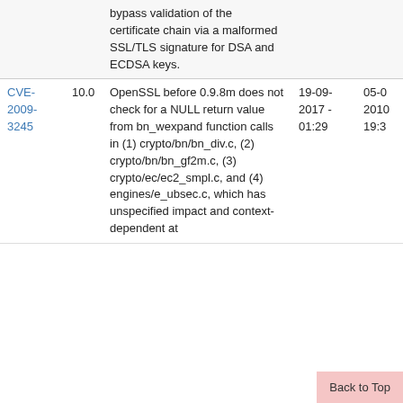| CVE | Score | Description | Date1 | Date2 |
| --- | --- | --- | --- | --- |
|  |  | bypass validation of the certificate chain via a malformed SSL/TLS signature for DSA and ECDSA keys. |  |  |
| CVE-2009-3245 | 10.0 | OpenSSL before 0.9.8m does not check for a NULL return value from bn_wexpand function calls in (1) crypto/bn/bn_div.c, (2) crypto/bn/bn_gf2m.c, (3) crypto/ec/ec2_smpl.c, and (4) engines/e_ubsec.c, which has unspecified impact and context-dependent at | 19-09-2017 - 01:29 | 05-0 2010 19:3 |